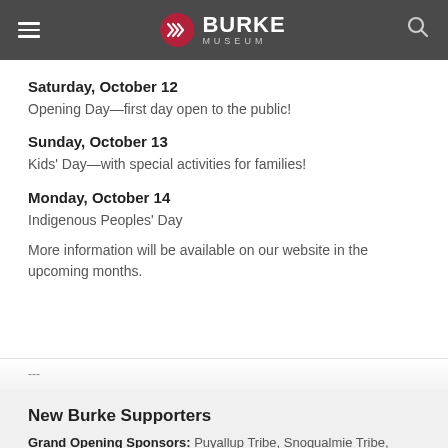Burke Museum
Saturday, October 12
Opening Day—first day open to the public!
Sunday, October 13
Kids' Day—with special activities for families!
Monday, October 14
Indigenous Peoples' Day
More information will be available on our website in the upcoming months.
---
New Burke Supporters
Grand Opening Sponsors: Puyallup Tribe, Snoqualmie Tribe, Tulalip Tribe, Cowlitz Tribe, Stillaguamish Tribe, Suquamish